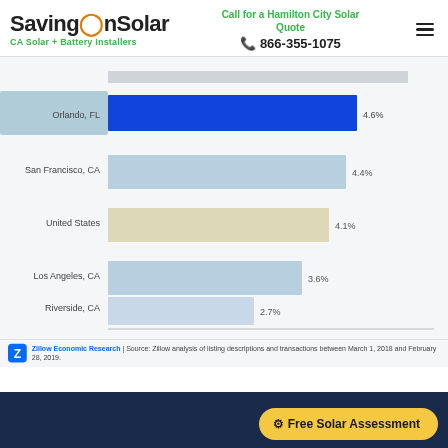SavingOnSolar — CA Solar + Battery Installers | Call for a Hamilton City Solar Quote | 866-355-1075
[Figure (bar-chart): Solar premium by city]
Zillow Economic Research | Source: Zillow analysis of listing descriptions and transactions between March 1, 2018 and February 28, 2019.
Free Solar Assessment